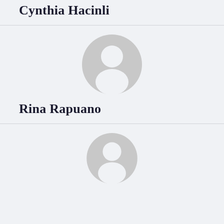Cynthia Hacinli
[Figure (illustration): Generic grey user avatar placeholder icon (circle with person silhouette)]
Rina Rapuano
[Figure (illustration): Generic grey user avatar placeholder icon (circle with person silhouette), partially cropped at bottom]